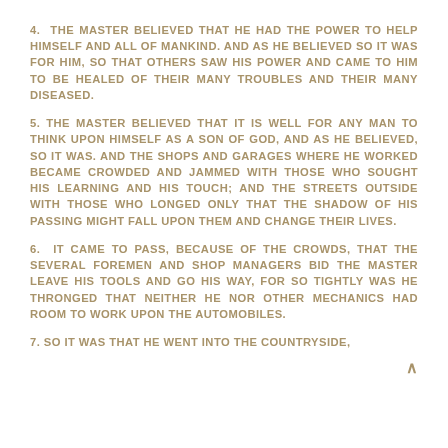4. THE MASTER BELIEVED THAT HE HAD THE POWER TO HELP HIMSELF AND ALL OF MANKIND. AND AS HE BELIEVED SO IT WAS FOR HIM, SO THAT OTHERS SAW HIS POWER AND CAME TO HIM TO BE HEALED OF THEIR MANY TROUBLES AND THEIR MANY DISEASED.
5. THE MASTER BELIEVED THAT IT IS WELL FOR ANY MAN TO THINK UPON HIMSELF AS A SON OF GOD, AND AS HE BELIEVED, SO IT WAS. AND THE SHOPS AND GARAGES WHERE HE WORKED BECAME CROWDED AND JAMMED WITH THOSE WHO SOUGHT HIS LEARNING AND HIS TOUCH; AND THE STREETS OUTSIDE WITH THOSE WHO LONGED ONLY THAT THE SHADOW OF HIS PASSING MIGHT FALL UPON THEM AND CHANGE THEIR LIVES.
6. IT CAME TO PASS, BECAUSE OF THE CROWDS, THAT THE SEVERAL FOREMEN AND SHOP MANAGERS BID THE MASTER LEAVE HIS TOOLS AND GO HIS WAY, FOR SO TIGHTLY WAS HE THRONGED THAT NEITHER HE NOR OTHER MECHANICS HAD ROOM TO WORK UPON THE AUTOMOBILES.
7. SO IT WAS THAT HE WENT INTO THE COUNTRYSIDE,